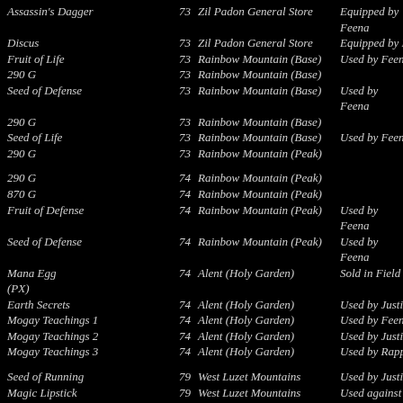Assassin's Dagger  73  Zil Padon General Store  Equipped by Feena
Discus  73  Zil Padon General Store  Equipped by Rapp
Fruit of Life  73  Rainbow Mountain (Base)  Used by Feena
290 G  73  Rainbow Mountain (Base)
Seed of Defense  73  Rainbow Mountain (Base)  Used by Feena
290 G  73  Rainbow Mountain (Base)
Seed of Life  73  Rainbow Mountain (Base)  Used by Feena
290 G  73  Rainbow Mountain (Peak)
290 G  74  Rainbow Mountain (Peak)
870 G  74  Rainbow Mountain (Peak)
Fruit of Defense  74  Rainbow Mountain (Peak)  Used by Feena
Seed of Defense  74  Rainbow Mountain (Peak)  Used by Feena
Mana Egg  74  Alent (Holy Garden)  Sold in Field Base (PX)
Earth Secrets  74  Alent (Holy Garden)  Used by Justin
Mogay Teachings 1  74  Alent (Holy Garden)  Used by Feena
Mogay Teachings 2  74  Alent (Holy Garden)  Used by Justin
Mogay Teachings 3  74  Alent (Holy Garden)  Used by Rapp
Seed of Running  79  West Luzet Mountains  Used by Justin
Magic Lipstick  79  West Luzet Mountains  Used against Gaia Core
300 G  79  West Luzet Mountains
Seed of Running  79  West Luzet Mountains  Used by Justin